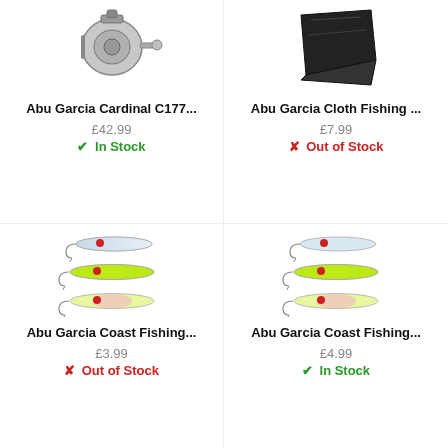[Figure (photo): Abu Garcia Cardinal C177 fishing reel product photo]
Abu Garcia Cardinal C177...
£42.99
✔ In Stock
[Figure (photo): Abu Garcia Cloth Fishing product photo - black cloth/bag]
Abu Garcia Cloth Fishing ...
£7.99
✘ Out of Stock
[Figure (photo): Abu Garcia Coast Fishing lures - three fishing lures in silver/green/pink]
Abu Garcia Coast Fishing...
£3.99
✘ Out of Stock
[Figure (photo): Abu Garcia Coast Fishing lures - three fishing lures in silver/green/yellow]
Abu Garcia Coast Fishing...
£4.99
✔ In Stock